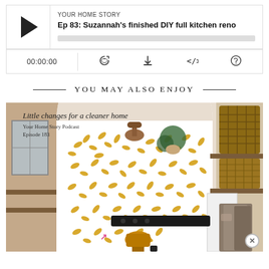[Figure (screenshot): Podcast audio player widget showing play button, episode info for 'YOUR HOME STORY - Ep 83: Suzannah's finished DIY full kitchen reno', progress bar, time display 00:00:00, and control icons for RSS, download, embed, and share.]
YOU MAY ALSO ENJOY
[Figure (photo): Laundry room with gold/yellow botanical wallpaper, wooden shelves with wicker baskets, fabric storage bins, and text overlay reading 'Little changes for a cleaner home / Your Home Story Podcast Episode 183']